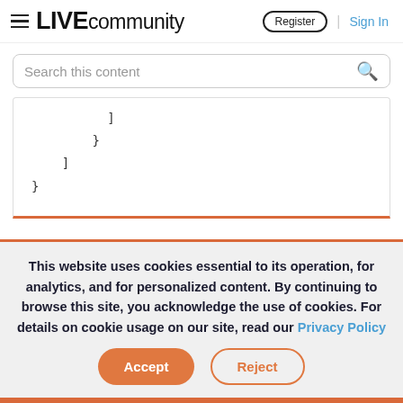LIVE community | Register | Sign In
Search this content
]
        }
    ]
}
This website uses cookies essential to its operation, for analytics, and for personalized content. By continuing to browse this site, you acknowledge the use of cookies. For details on cookie usage on our site, read our Privacy Policy
Accept | Reject